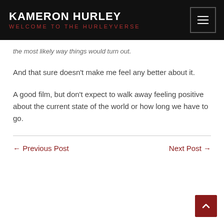KAMERON HURLEY — WELCOME TO THE HURLEYVERSE
the most likely way things would turn out.
And that sure doesn't make me feel any better about it.
A good film, but don't expect to walk away feeling positive about the current state of the world or how long we have to go.
← Previous Post    Next Post →